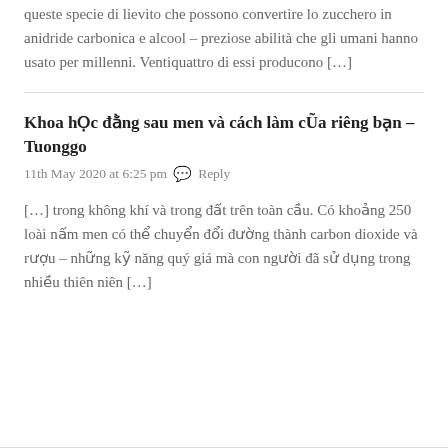queste specie di lievito che possono convertire lo zucchero in anidride carbonica e alcool – preziose abilità che gli umani hanno usato per millenni. Ventiquattro di essi producono […]
Khoa hỌc đằng sau men và cách làm cŨa riêng bạn – Tuonggo
11th May 2020 at 6:25 pm  💬 Reply
[…] trong không khí và trong đất trên toàn cầu. Có khoảng 250 loài nấm men có thể chuyển đổi đường thành carbon dioxide và rượu – những kỹ năng quý giá mà con người đã sử dụng trong nhiều thiên niên […]